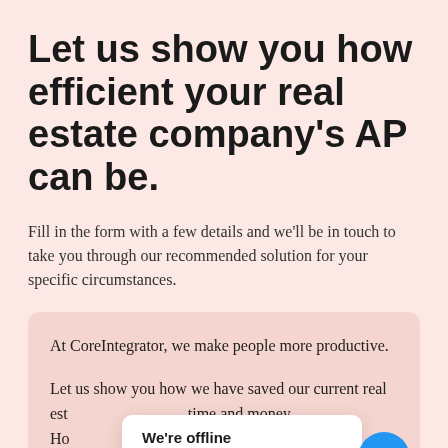Let us show you how efficient your real estate company's AP can be.
Fill in the form with a few details and we'll be in touch to take you through our recommended solution for your specific circumstances.
At CoreIntegrator, we make people more productive.
Let us show you how we have saved our current real estate clients both time and money. Ho... into AP data co... (continues)
[Figure (screenshot): Chat widget popup showing 'We're offline / Leave a message' with a blue circular chat button in the bottom right corner.]